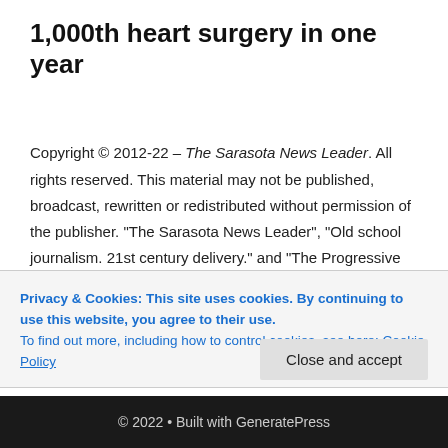1,000th heart surgery in one year
Copyright © 2012-22 – The Sarasota News Leader. All rights reserved. This material may not be published, broadcast, rewritten or redistributed without permission of the publisher. "The Sarasota News Leader", "Old school journalism. 21st century delivery." and "The Progressive Voice of Southwest Florida" are registered trademarks of
Privacy & Cookies: This site uses cookies. By continuing to use this website, you agree to their use.
To find out more, including how to control cookies, see here: Cookie Policy
© 2022 • Built with GeneratePress